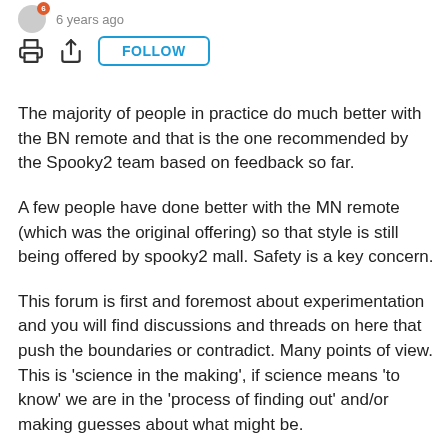6 years ago
The majority of people in practice do much better with the BN remote and that is the one recommended by the Spooky2 team based on feedback so far.
A few people have done better with the MN remote (which was the original offering) so that style is still being offered by spooky2 mall. Safety is a key concern.
This forum is first and foremost about experimentation and you will find discussions and threads on here that push the boundaries or contradict. Many points of view.
This is 'science in the making', if science means 'to know' we are in the 'process of finding out' and/or making guesses about what might be.